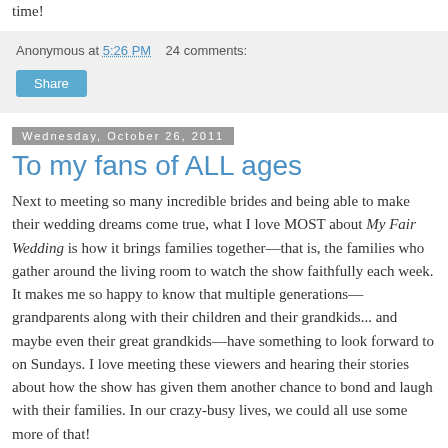time!
Anonymous at 5:26 PM    24 comments:
Share
Wednesday, October 26, 2011
To my fans of ALL ages
Next to meeting so many incredible brides and being able to make their wedding dreams come true, what I love MOST about My Fair Wedding is how it brings families together—that is, the families who gather around the living room to watch the show faithfully each week. It makes me so happy to know that multiple generations—grandparents along with their children and their grandkids... and maybe even their great grandkids—have something to look forward to on Sundays. I love meeting these viewers and hearing their stories about how the show has given them another chance to bond and laugh with their families. In our crazy-busy lives, we could all use some more of that!